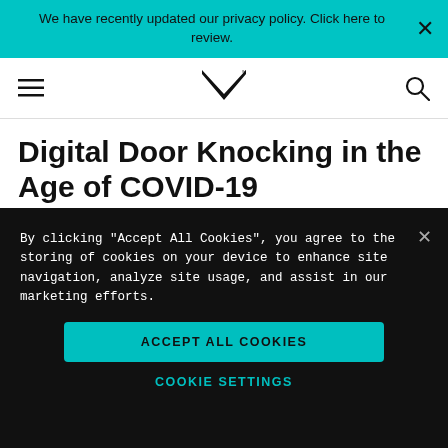We have recently updated our privacy policy. Click here to review.
[Figure (logo): Navigation bar with hamburger menu icon, stylized M logo with registered mark, and search icon]
Digital Door Knocking in the Age of COVID-19
By Geoff Wetrosky
By clicking “Accept All Cookies”, you agree to the storing of cookies on your device to enhance site navigation, analyze site usage, and assist in our marketing efforts.
Accept All Cookies
Cookie Settings